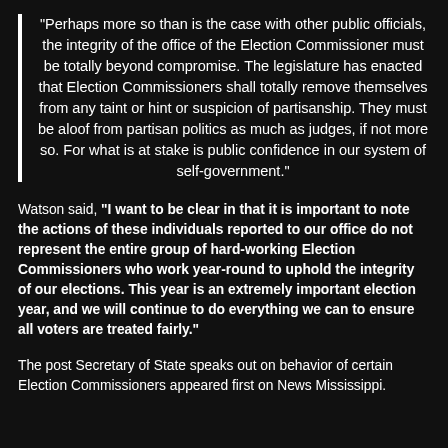“Perhaps more so than is the case with other public officials, the integrity of the office of the Election Commissioner must be totally beyond compromise. The legislature has enacted that Election Commissioners shall totally remove themselves from any taint or hint or suspicion of partisanship. They must be aloof from partisan politics as much as judges, if not more so. For what is at stake is public confidence in our system of self-government.”
Watson said, “I want to be clear in that it is important to note the actions of these individuals reported to our office do not represent the entire group of hard-working Election Commissioners who work year-round to uphold the integrity of our elections. This year is an extremely important election year, and we will continue to do everything we can to ensure all voters are treated fairly.”
The post Secretary of State speaks out on behavior of certain Election Commissioners appeared first on News Mississippi.